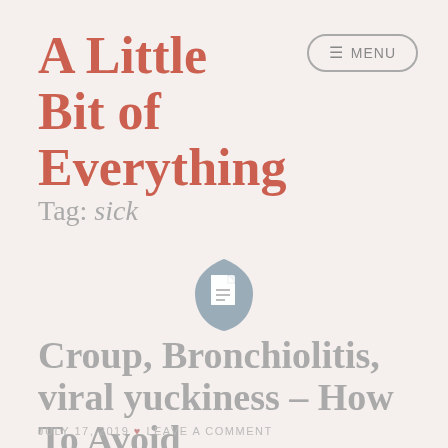A Little Bit of Everything
Tag: sick
[Figure (illustration): A gray document/file icon with rounded shield-like background]
Croup, Bronchiolitis, viral yuckiness – How To Avoid
JULY 17, 2019 • LEAVE A COMMENT